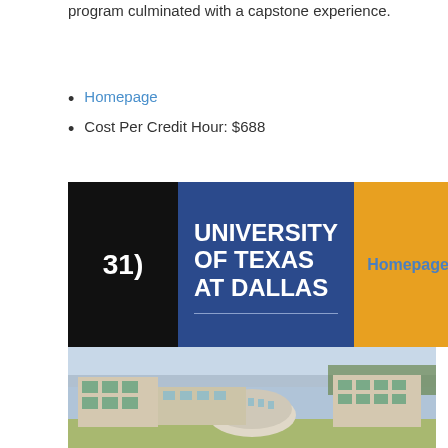program culminated with a capstone experience.
Homepage
Cost Per Credit Hour: $688
[Figure (infographic): University of Texas at Dallas banner with number 31), blue background with university name in white bold text, and orange panel with Homepage link]
[Figure (photo): Aerial/elevated photograph of University of Texas at Dallas campus buildings, showing modern architecture with a circular building in the center]